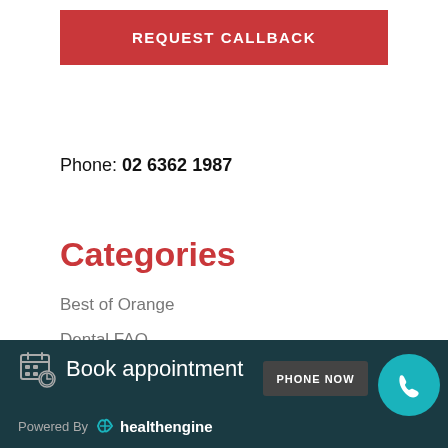[Figure (other): Red REQUEST CALLBACK button]
Phone: 02 6362 1987
Categories
Best of Orange
Dental FAQ
Family Dentistry
Book appointment  PHONE NOW  Powered By healthengine